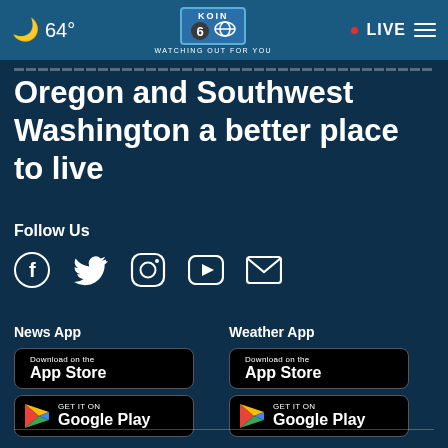64° KOIN 6 CBS WATCHING OUT FOR YOU • LIVE
Oregon and Southwest Washington a better place to live
Follow Us
[Figure (other): Social media icons: Facebook, Twitter, Instagram, YouTube, Email]
News App
[Figure (other): Download on the App Store button (black)]
[Figure (other): GET IT ON Google Play button (black)]
Weather App
[Figure (other): Download on the App Store button (black)]
[Figure (other): GET IT ON Google Play button (black)]